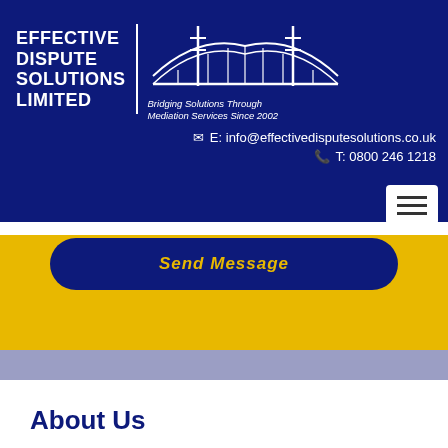[Figure (logo): Effective Dispute Solutions Limited logo with bridge illustration and tagline 'Bridging Solutions Through Mediation Services Since 2002']
E: info@effectivedisputesolutions.co.uk
T: 0800 246 1218
[Figure (other): Hamburger menu button (three horizontal lines) on white background]
[Figure (other): Send Message button on yellow background with dark blue rounded rectangle]
About Us